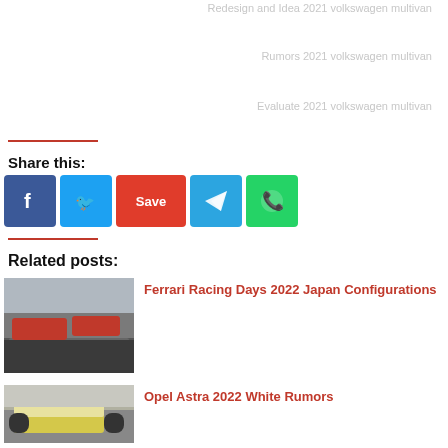Redesign and Idea 2021 volkswagen multivan
Rumors 2021 volkswagen multivan
Evaluate 2021 volkswagen multivan
Share this:
[Figure (other): Social share buttons: Facebook, Twitter, Save (Pinterest), Telegram, WhatsApp]
Related posts:
[Figure (photo): Red Ferrari racing car in a parking lot]
Ferrari Racing Days 2022 Japan Configurations
[Figure (photo): Yellow and white Opel Astra car]
Opel Astra 2022 White Rumors